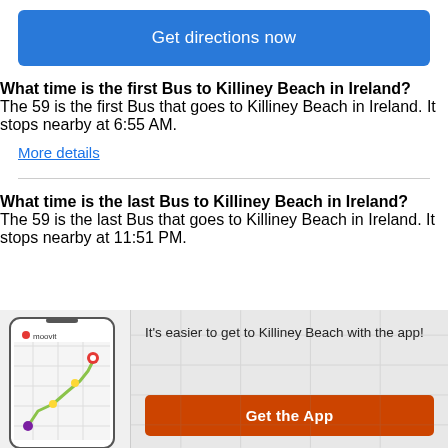Get directions now
What time is the first Bus to Killiney Beach in Ireland?
The 59 is the first Bus that goes to Killiney Beach in Ireland. It stops nearby at 6:55 AM.
More details
What time is the last Bus to Killiney Beach in Ireland?
The 59 is the last Bus that goes to Killiney Beach in Ireland. It stops nearby at 11:51 PM.
[Figure (screenshot): Moovit app screenshot on a phone showing a route map]
It's easier to get to Killiney Beach with the app!
Get the App